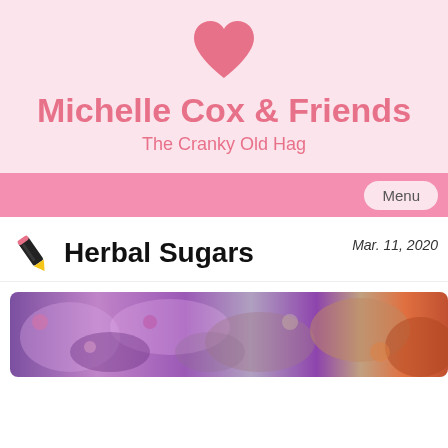[Figure (logo): Pink heart icon used as site logo]
Michelle Cox & Friends
The Cranky Old Hag
Menu
Herbal Sugars
Mar. 11, 2020
[Figure (photo): Colorful photo of herbal sugars with purple and pink floral tones]